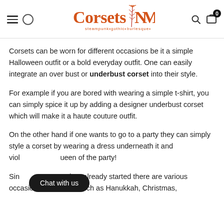Corsets N More — steampunk • gothic • burlesque — navigation header
Corsets can be worn for different occasions be it a simple Halloween outfit or a bold everyday outfit. One can easily integrate an over bust or underbust corset into their style.
For example if you are bored with wearing a simple t-shirt, you can simply spice it up by adding a designer underbust corset which will make it a haute couture outfit.
On the other hand if one wants to go to a party they can simply style a corset by wearing a dress underneath it and viol… queen of the party!
Sinc… eason has already started there are various occasions coming up such as Hanukkah, Christmas,